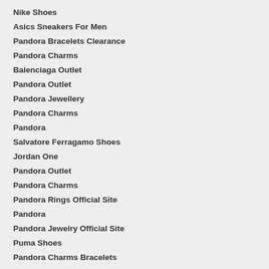Nike Shoes
Asics Sneakers For Men
Pandora Bracelets Clearance
Pandora Charms
Balenciaga Outlet
Pandora Outlet
Pandora Jewellery
Pandora Charms
Pandora
Salvatore Ferragamo Shoes
Jordan One
Pandora Outlet
Pandora Charms
Pandora Rings Official Site
Pandora
Pandora Jewelry Official Site
Puma Shoes
Pandora Charms Bracelets
Pandora Outlet
Adidas Canada
Nike Shoes Canada
Men's Nike Shoes